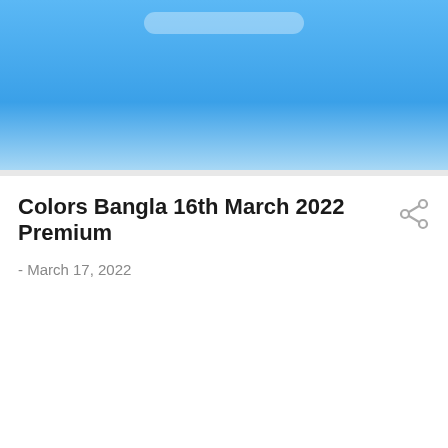[Figure (screenshot): Blue gradient header banner with a rounded search/address bar at the top]
Colors Bangla 16th March 2022 Premium
- March 17, 2022